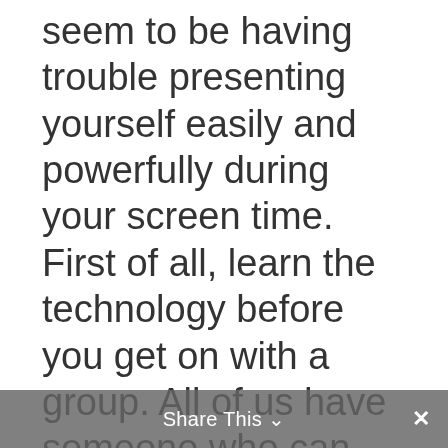seem to be having trouble presenting yourself easily and powerfully during your screen time. First of all, learn the technology before you get on with a group. All of us have someone who can show us the basics. You do not want to get on the screen with experienced people and look like you do not know anything about the technology. People will wonder and be ever so “judgy” of you showing up as a complete novice.
Remember also, no huge cups of anything; no eating; no sliding
Share This ⌄  ×